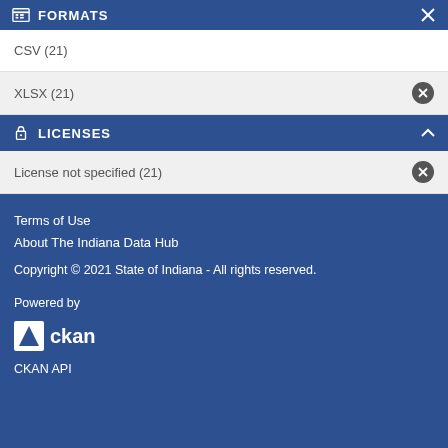FORMATS
CSV (21)
XLSX (21)
LICENSES
License not specified (21)
Terms of Use
About The Indiana Data Hub
Copyright © 2021 State of Indiana - All rights reserved.
Powered by
ckan
CKAN API